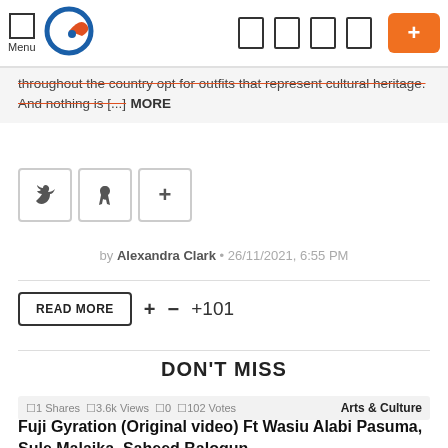Menu
throughout the country opt for outfits that represent cultural heritage. And nothing is [...] MORE
[Figure (other): Social share buttons: Twitter (bird icon), Pinterest (P icon), Plus (+) icon]
by Alexandra Clark • 26/11/2021, 6:55 PM
READ MORE  +  −  +101
DON'T MISS
1 Shares  3.6k Views  0  102 Votes  Arts & Culture
Fuji Gyration (Original video) Ft Wasiu Alabi Pasuma, Sule Malaika, Saheed Balogun,